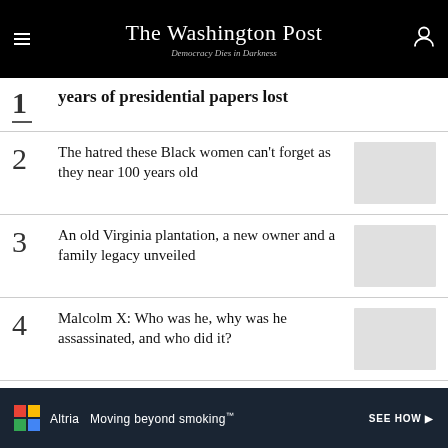The Washington Post — Democracy Dies in Darkness
1 — years of presidential papers lost
2 — The hatred these Black women can't forget as they near 100 years old
3 — An old Virginia plantation, a new owner and a family legacy unveiled
4 — Malcolm X: Who was he, why was he assassinated, and who did it?
5 — Drought is exposing world relics —
[Figure (advertisement): Altria 'Moving beyond smoking' SEE HOW advertisement banner]